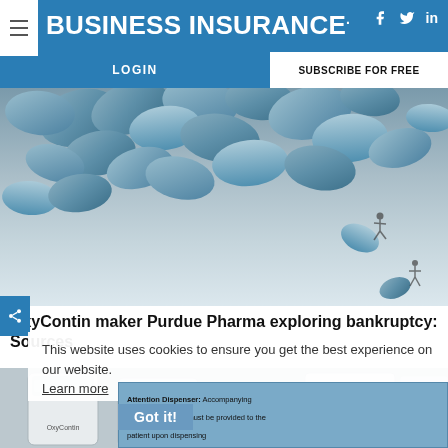BUSINESS INSURANCE
[Figure (photo): Blue and grey pills/tablets spilling and falling against a cloudy sky background with tiny human silhouettes falling alongside the pills]
OxyContin maker Purdue Pharma exploring bankruptcy: Sources
This website uses cookies to ensure you get the best experience on our website.
Learn more
Got it!
[Figure (photo): OxyContin prescription medicine bottles, with an attention dispenser label overlay reading: Attention Dispenser: Accompanying Medication Guide must be provided to the patient upon dispensing. NDC 59011-440-10 OxyContin CII]